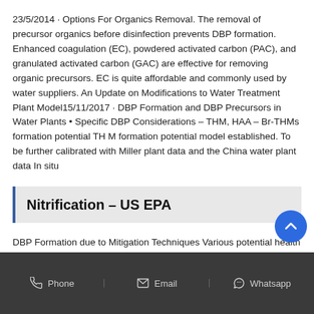23/5/2014 · Options For Organics Removal. The removal of precursor organics before disinfection prevents DBP formation. Enhanced coagulation (EC), powdered activated carbon (PAC), and granulated activated carbon (GAC) are effective for removing organic precursors. EC is quite affordable and commonly used by water suppliers. An Update on Modifications to Water Treatment Plant Model15/11/2017 · DBP Formation and DBP Precursors in Water Plants • Specific DBP Considerations – THM, HAA – Br-THMs formation potential TH M formation potential model established. To be further calibrated with Miller plant data and the China water plant data In situ
Nitrification – US EPA
DBP Formation due to Mitigation Techniques Various potential health impacts have been associated with issues identified in Table 1. The Chemical Health Effects Tables (U.S. Environmental Protection Ag...
Phone  Email  Whatsapp